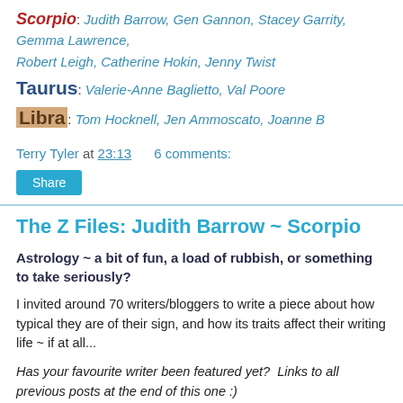Scorpio: Judith Barrow, Gen Gannon, Stacey Garrity, Gemma Lawrence, Robert Leigh, Catherine Hokin, Jenny Twist
Taurus: Valerie-Anne Baglietto, Val Poore
Libra: Tom Hocknell, Jen Ammoscato, Joanne B
Terry Tyler at 23:13    6 comments:
Share
The Z Files: Judith Barrow ~ Scorpio
Astrology ~ a bit of fun, a load of rubbish, or something to take seriously?
I invited around 70 writers/bloggers to write a piece about how typical they are of their sign, and how its traits affect their writing life ~ if at all...
Has your favourite writer been featured yet?  Links to all previous posts at the end of this one :)